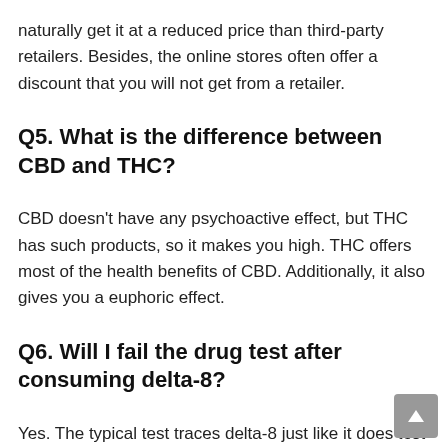naturally get it at a reduced price than third-party retailers. Besides, the online stores often offer a discount that you will not get from a retailer.
Q5. What is the difference between CBD and THC?
CBD doesn't have any psychoactive effect, but THC has such products, so it makes you high. THC offers most of the health benefits of CBD. Additionally, it also gives you a euphoric effect.
Q6. Will I fail the drug test after consuming delta-8?
Yes. The typical test traces delta-8 just like it does test for